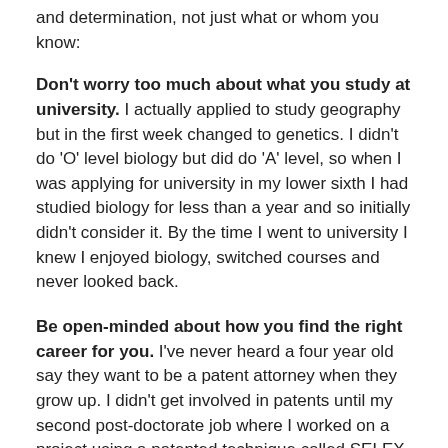and determination, not just what or whom you know:
Don't worry too much about what you study at university. I actually applied to study geography but in the first week changed to genetics. I didn't do 'O' level biology but did do 'A' level, so when I was applying for university in my lower sixth I had studied biology for less than a year and so initially didn't consider it. By the time I went to university I knew I enjoyed biology, switched courses and never looked back.
Be open-minded about how you find the right career for you. I've never heard a four year old say they want to be a patent attorney when they grow up. I didn't get involved in patents until my second post-doctorate job where I worked on a project using a patented technique called SELEX created by a US company. At the same time I got chatting to a PhD student who was applying for a patent attorney position and they thought we had to...